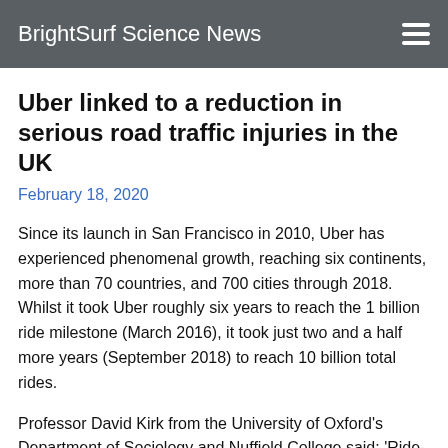BrightSurf Science News
Uber linked to a reduction in serious road traffic injuries in the UK
February 18, 2020
Since its launch in San Francisco in 2010, Uber has experienced phenomenal growth, reaching six continents, more than 70 countries, and 700 cities through 2018. Whilst it took Uber roughly six years to reach the 1 billion ride milestone (March 2016), it took just two and a half more years (September 2018) to reach 10 billion total rides.
Professor David Kirk from the University of Oxford's Department of Sociology and Nuffield College said: 'Ride-hailing is a private sector intervention that may have transformative potential to change the nature of road safety worldwide, yet there has been relatively little research on the